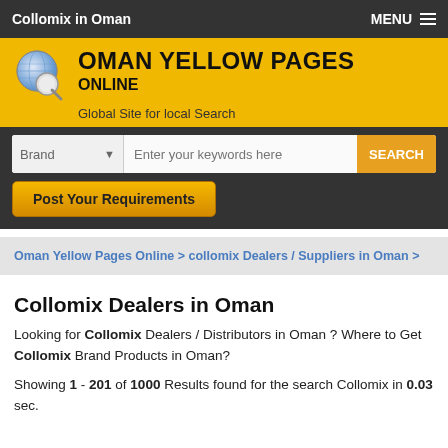Collomix in Oman   MENU ☰
[Figure (logo): Oman Yellow Pages Online logo with globe/magnifier icon, yellow background, bold text OMAN YELLOW PAGES ONLINE, subtitle: Global Site for local Search]
Brand  Enter your keywords here  SEARCH  Post Your Requirements
Oman Yellow Pages Online > collomix Dealers / Suppliers in Oman >
Collomix Dealers in Oman
Looking for Collomix Dealers / Distributors in Oman ? Where to Get Collomix Brand Products in Oman?
Showing 1 - 201 of 1000 Results found for the search Collomix in 0.03 sec.